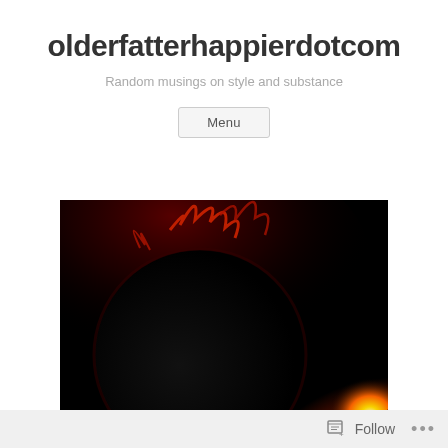olderfatterhappierdotcom
Random musings on style and substance
Menu
[Figure (photo): Solar eclipse photo showing a dark moon silhouetted against the sun with brilliant corona, red solar prominences, and bright yellow-white light along the lower right edge against a black sky.]
Follow ...